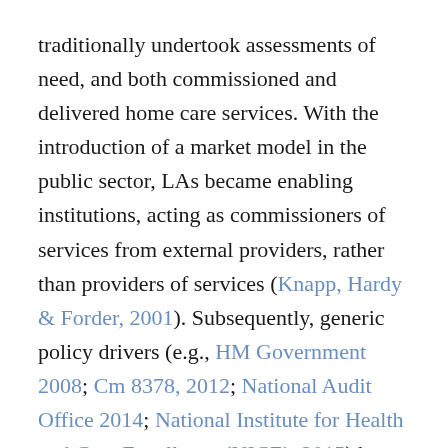traditionally undertook assessments of need, and both commissioned and delivered home care services. With the introduction of a market model in the public sector, LAs became enabling institutions, acting as commissioners of services from external providers, rather than providers of services (Knapp, Hardy & Forder, 2001). Subsequently, generic policy drivers (e.g., HM Government 2008; Cm 8378, 2012; National Audit Office 2014; National Institute for Health and Care Excellence (NICE), 2015) have advocated a more personalised and flexible approach to the delivery of care. It is now required that service providers deliver 'personalised care' within a person-centred model enabling people to have choice and control over the way their care is planned and delivered based on what